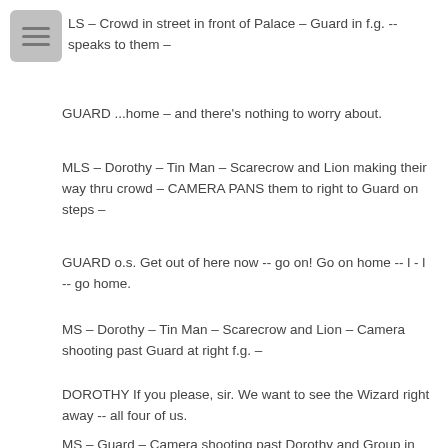[Figure (other): Gray icon box with three horizontal lines (menu/scene indicator)]
LS – Crowd in street in front of Palace – Guard in f.g. -- speaks to them –
GUARD ...home – and there's nothing to worry about.
MLS – Dorothy – Tin Man – Scarecrow and Lion making their way thru crowd – CAMERA PANS them to right to Guard on steps –
GUARD o.s. Get out of here now -- go on! Go on home -- l - l -- go home.
MS – Dorothy – Tin Man – Scarecrow and Lion – Camera shooting past Guard at right f.g. –
DOROTHY If you please, sir. We want to see the Wizard right away -- all four of us.
MS – Guard – Camera shooting past Dorothy and Group in f.g. –